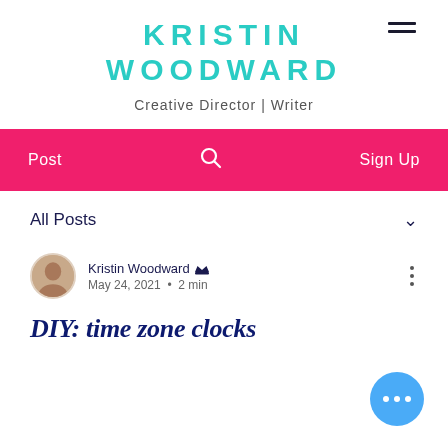KRISTIN WOODWARD
Creative Director | Writer
Post  🔍  Sign Up
All Posts
Kristin Woodward 👑
May 24, 2021  •  2 min
DIY: time zone clocks